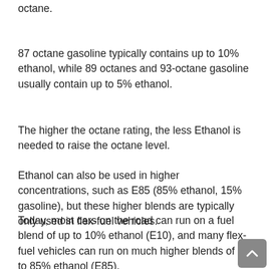octane.
87 octane gasoline typically contains up to 10% ethanol, while 89 octanes and 93-octane gasoline usually contain up to 5% ethanol.
The higher the octane rating, the less Ethanol is needed to raise the octane level.
Ethanol can also be used in higher concentrations, such as E85 (85% ethanol, 15% gasoline), but these higher blends are typically only used in flex-fuel vehicles.
Today, most cars on the road can run on a fuel blend of up to 10% ethanol (E10), and many flex-fuel vehicles can run on much higher blends of up to 85% ethanol (E85).